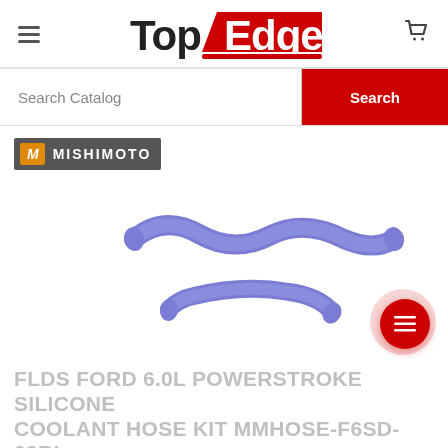[Figure (logo): Top Edge logo with bold black 'Top' and red 'Edge' text with red swoosh underline]
[Figure (screenshot): Search Catalog input bar with red Search button on the right]
[Figure (logo): Mishimoto brand badge with italic M icon on orange background and white MISHIMOTO text on dark grey]
[Figure (photo): Purple/blue silicone coolant hoses - two curved hose pieces on white background]
FLDS FORD 6.0L POWERSTROKE SILICONE COOLANT HOSE KIT MMHOSE-F6SD-03BL